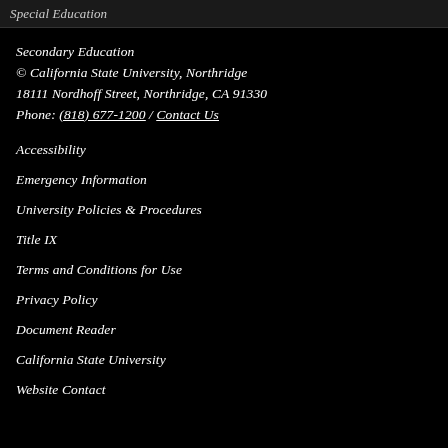Special Education
Secondary Education
© California State University, Northridge
18111 Nordhoff Street, Northridge, CA 91330
Phone: (818) 677-1200 / Contact Us
Accessibility
Emergency Information
University Policies & Procedures
Title IX
Terms and Conditions for Use
Privacy Policy
Document Reader
California State University
Website Contact